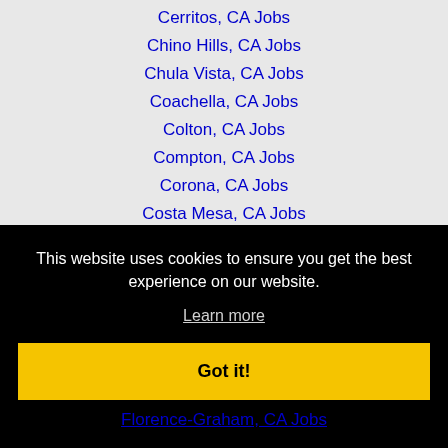Cerritos, CA Jobs
Chino Hills, CA Jobs
Chula Vista, CA Jobs
Coachella, CA Jobs
Colton, CA Jobs
Compton, CA Jobs
Corona, CA Jobs
Costa Mesa, CA Jobs
Covina, CA Jobs
Cypress, CA Jobs
This website uses cookies to ensure you get the best experience on our website.
Learn more
Got it!
Florence-Graham, CA Jobs